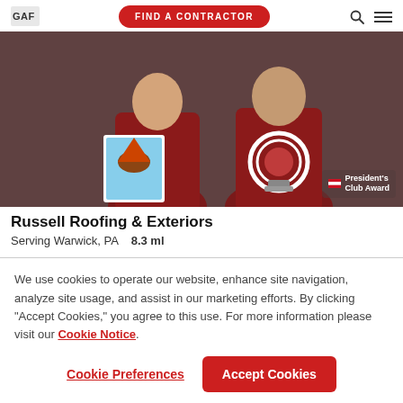GAF | FIND A CONTRACTOR
[Figure (photo): Two men in dark red/maroon shirts standing together. Left man holds a photo of a building with a conical roof. Right man holds a circular award trophy. A President's Club Award badge is visible in the lower right corner of the image.]
Russell Roofing & Exteriors
Serving Warwick, PA    8.3 ml
We use cookies to operate our website, enhance site navigation, analyze site usage, and assist in our marketing efforts. By clicking "Accept Cookies," you agree to this use. For more information please visit our Cookie Notice.
Cookie Preferences | Accept Cookies